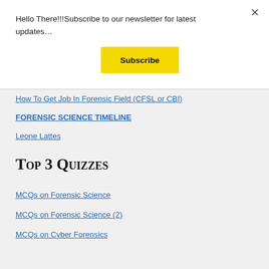Hello There!!!Subscribe to our newsletter for latest updates…
Subscribe
How To Get Job In Forensic Field (CFSL or CBI)
FORENSIC SCIENCE TIMELINE
Leone Lattes
Top 3 Quizzes
MCQs on Forensic Science
MCQs on Forensic Science (2)
MCQs on Cyber Forensics